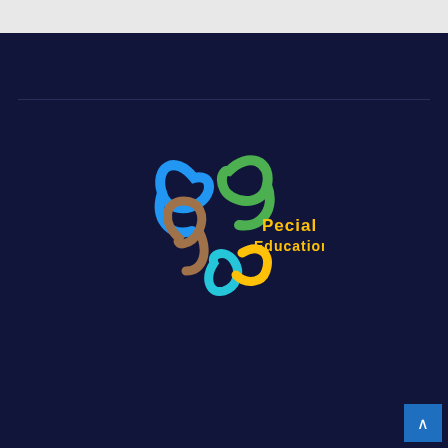[Figure (logo): Special Education logo with colorful swirling shapes in blue, green, brown and teal, with text 'Pecial Education' in yellow/orange on dark navy background]
Proudly powered by WordPress | Theme: Newsup by Themeansar.
Home   Advertise Here   Contact Us   Disclosure Policy
Sitemap